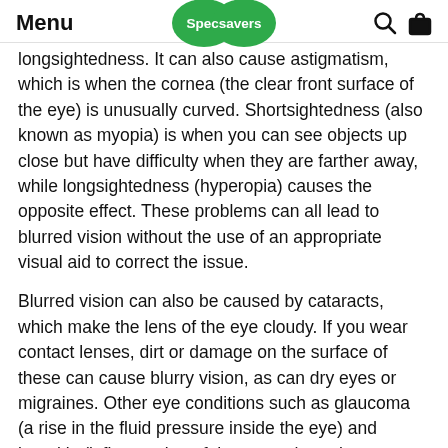Menu | Specsavers | [search icon] [bag icon]
longsightedness. It can also cause astigmatism, which is when the cornea (the clear front surface of the eye) is unusually curved. Shortsightedness (also known as myopia) is when you can see objects up close but have difficulty when they are farther away, while longsightedness (hyperopia) causes the opposite effect. These problems can all lead to blurred vision without the use of an appropriate visual aid to correct the issue.
Blurred vision can also be caused by cataracts, which make the lens of the eye cloudy. If you wear contact lenses, dirt or damage on the surface of these can cause blurry vision, as can dry eyes or migraines. Other eye conditions such as glaucoma (a rise in the fluid pressure inside the eye) and keratitis (inflammation of the cornea) can be associated with